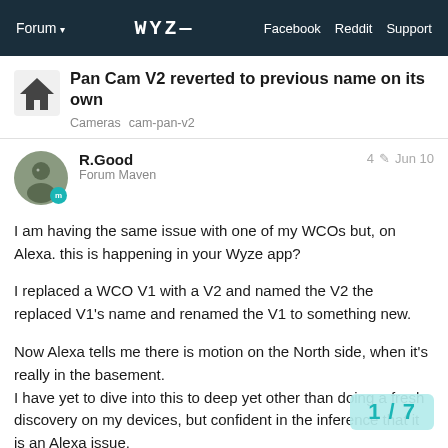Forum ▾  WYZE  Facebook  Reddit  Support
Pan Cam V2 reverted to previous name on its own
Cameras  cam-pan-v2
R.Good
Forum Maven
4 ✏  Jun 10
I am having the same issue with one of my WCOs but, on Alexa. this is happening in your Wyze app?

I replaced a WCO V1 with a V2 and named the V2 the replaced V1's name and renamed the V1 to something new.

Now Alexa tells me there is motion on the North side, when it's really in the basement.
I have yet to dive into this to deep yet other than doing a fresh discovery on my devices, but confident in the inference that it is an Alexa issue.

I will play some more and see if I can find s
1 / 7